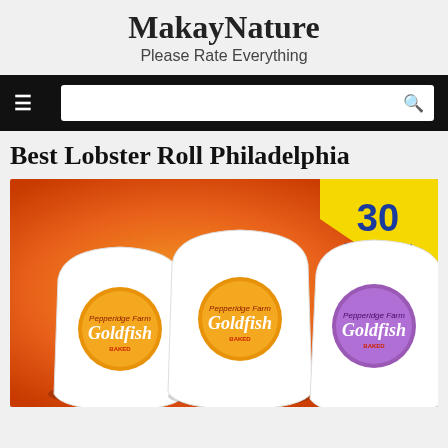MakayNature
Please Rate Everything
[Figure (screenshot): Black navigation bar with hamburger menu icon on left and white search box with magnifying glass icon on right]
Best Lobster Roll Philadelphia
[Figure (photo): Goldfish crackers product image showing three snack packs (Colors, Cheddar, Pretzel varieties) on an orange background with a yellow badge reading '30 ON THE GO! PACKS']